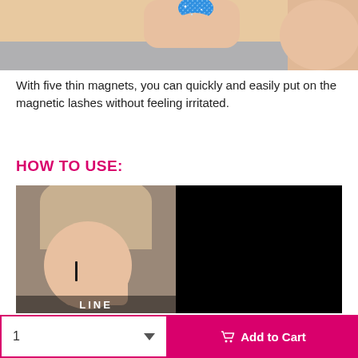[Figure (photo): Close-up photo of a person's hand with blue glittery nail polish touching their chin/face area, wearing a grey top. Only the bottom portion of the face and hand are visible.]
With five thin magnets, you can quickly and easily put on the magnetic lashes without feeling irritated.
HOW TO USE:
[Figure (photo): Split image showing a woman applying eyeliner/lashes. Left half shows a woman with hair up applying something near her eye using a small tool, with text 'LINE' at the bottom. Right half is entirely black.]